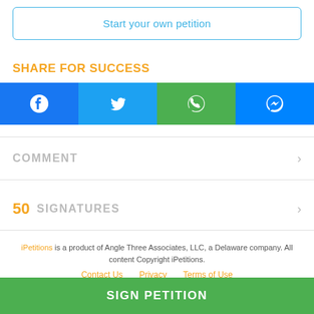Start your own petition
SHARE FOR SUCCESS
[Figure (infographic): Four social share buttons: Facebook (blue), Twitter (light blue), WhatsApp (green), Messenger (blue)]
COMMENT
50  SIGNATURES
iPetitions is a product of Angle Three Associates, LLC, a Delaware company. All content Copyright iPetitions.
Contact Us   Privacy   Terms of Use
SIGN PETITION